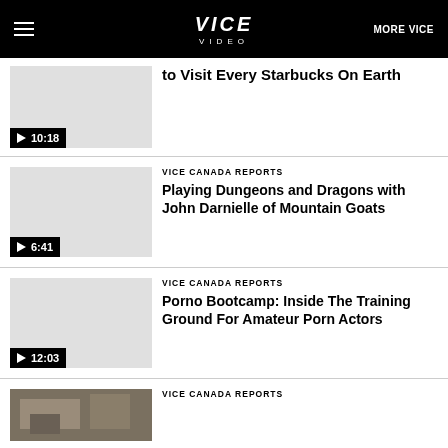VICE VIDEO | MORE VICE
[Figure (screenshot): Video thumbnail with play button and duration 10:18, partial title visible: to Visit Every Starbucks On Earth]
to Visit Every Starbucks On Earth
VICE CANADA REPORTS
[Figure (screenshot): Video thumbnail with play button and duration 6:41]
Playing Dungeons and Dragons with John Darnielle of Mountain Goats
VICE CANADA REPORTS
[Figure (screenshot): Video thumbnail with play button and duration 12:03]
Porno Bootcamp: Inside The Training Ground For Amateur Porn Actors
VICE CANADA REPORTS
[Figure (photo): Partial video thumbnail showing outdoor scene with buildings]